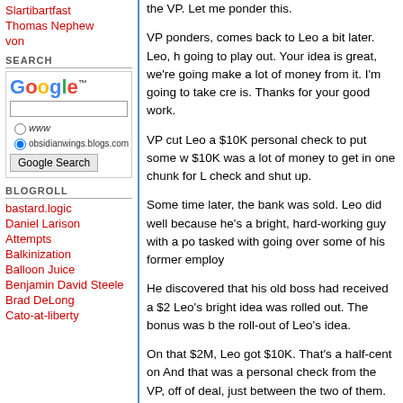Slartibartfast
Thomas Nephew
von
SEARCH
[Figure (screenshot): Google search widget with logo, text input, www and obsidianwings.blogs.com radio buttons, and Google Search button]
BLOGROLL
bastard.logic
Daniel Larison
Attempts
Balkinization
Balloon Juice
Benjamin David Steele
Brad DeLong
Cato-at-liberty
the VP.  Let me ponder this.
VP ponders, comes back to Leo a bit later.  Leo, h going to play out.  Your idea is great, we're going make a lot of money from it.  I'm going to take cre is.  Thanks for your good work.
VP cut Leo a $10K personal check to put some w $10K was a lot of money to get in one chunk for L check and shut up.
Some time later, the bank was sold.  Leo did well because he's a bright, hard-working guy with a po tasked with going over some of his former employ
He discovered that his old boss had received a $2 Leo's bright idea was rolled out.  The bonus was b the roll-out of Leo's idea.
On that $2M, Leo got $10K.  That's a half-cent on And that was a personal check from the VP, off of deal, just between the two of them.  The other fol financial analysis who vetted the concept for lega administrators who designed and implemented w were needed to make it happen - didn't even get t salaries.